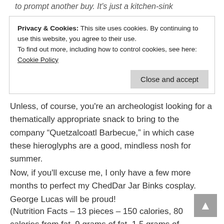to prompt another buy. It's just a kitchen-sink
Privacy & Cookies: This site uses cookies. By continuing to use this website, you agree to their use.
To find out more, including how to control cookies, see here: Cookie Policy
Close and accept
Unless, of course, you're an archeologist looking for a thematically appropriate snack to bring to the company “Quetzalcoatl Barbecue,” in which case these hieroglyphs are a good, mindless nosh for summer.
Now, if you’ll excuse me, I only have a few more months to perfect my ChedDar Jar Binks cosplay. George Lucas will be proud!
(Nutrition Facts – 13 pieces – 150 calories, 80 calories from fat, 9 grams of fat, 1.5 grams of saturated fat, 0